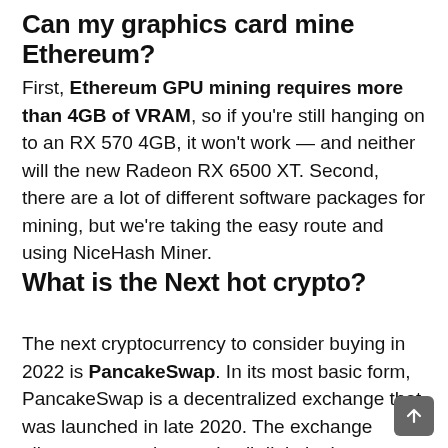Can my graphics card mine Ethereum?
First, Ethereum GPU mining requires more than 4GB of VRAM, so if you're still hanging on to an RX 570 4GB, it won't work — and neither will the new Radeon RX 6500 XT. Second, there are a lot of different software packages for mining, but we're taking the easy route and using NiceHash Miner.
What is the Next hot crypto?
The next cryptocurrency to consider buying in 2022 is PancakeSwap. In its most basic form, PancakeSwap is a decentralized exchange that was launched in late 2020. The exchange allows users to buy and sell digital tokens without going through a third party.